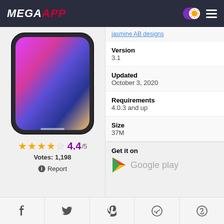MEGAAPP
[Figure (screenshot): iPhone X showing colorful gradient lock screen]
4.4/5 Votes: 1,198
Report
jasmine AB designs
Version
3.1
Updated
October 3, 2020
Requirements
4.0.3 and up
Size
37M
Get it on
Google play
Social share buttons: Facebook, Twitter, Pinterest, Telegram, WhatsApp